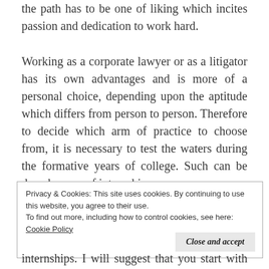the path has to be one of liking which incites passion and dedication to work hard.
Working as a corporate lawyer or as a litigator has its own advantages and is more of a personal choice, depending upon the aptitude which differs from person to person. Therefore to decide which arm of practice to choose from, it is necessary to test the waters during the formative years of college. Such can be done by way of internships.
Privacy & Cookies: This site uses cookies. By continuing to use this website, you agree to their use.
To find out more, including how to control cookies, see here:
Cookie Policy

Close and accept
internships. I will suggest that you start with an